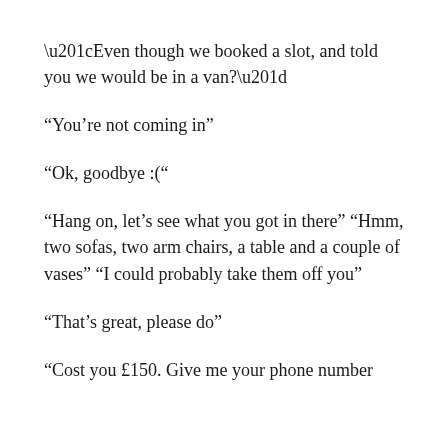“Even though we booked a slot, and told you we would be in a van?”
“You’re not coming in”
“Ok, goodbye :(”
“Hang on, let’s see what you got in there” “Hmm, two sofas, two arm chairs, a table and a couple of vases” “I could probably take them off you”
“That’s great, please do”
“Cost you £150. Give me your phone number